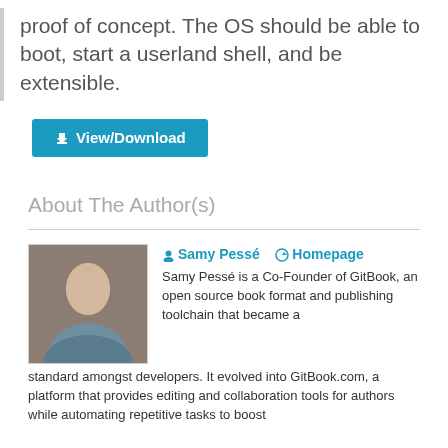proof of concept. The OS should be able to boot, start a userland shell, and be extensible.
View/Download
About The Author(s)
Samy Pessé   Homepage
Samy Pessé is a Co-Founder of GitBook, an open source book format and publishing toolchain that became a standard amongst developers. It evolved into GitBook.com, a platform that provides editing and collaboration tools for authors while automating repetitive tasks to boost